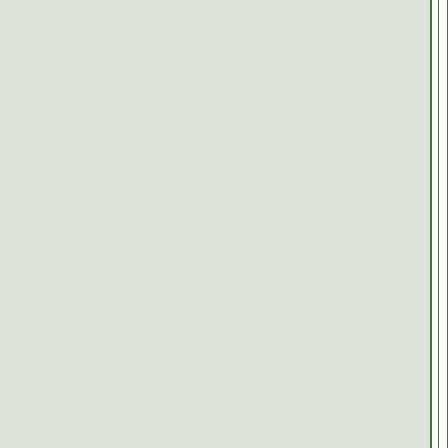[Figure (photo): Left gray sidebar panel with vertical book spine lines]
[Figure (photo): Book cover: They're So Flamboyant - pink house scene with animals, by Michael Bendetti, illustrated by Lucy Nerd]
They're So Flamboyant
By Mi...
$14....
ISBN:...
Available... within...
Publi...
[Figure (photo): Book cover: What Boys - colorful letters, illustrated with watercolor style]
Wh...
By Jo...